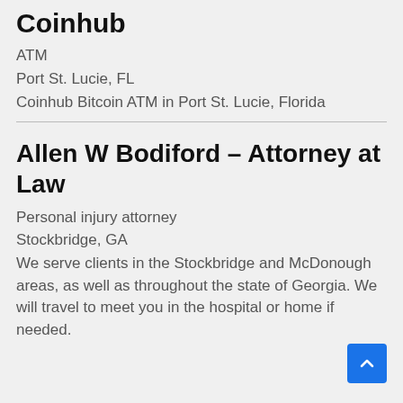Coinhub
ATM
Port St. Lucie, FL
Coinhub Bitcoin ATM in Port St. Lucie, Florida
Allen W Bodiford – Attorney at Law
Personal injury attorney
Stockbridge, GA
We serve clients in the Stockbridge and McDonough areas, as well as throughout the state of Georgia. We will travel to meet you in the hospital or home if needed.